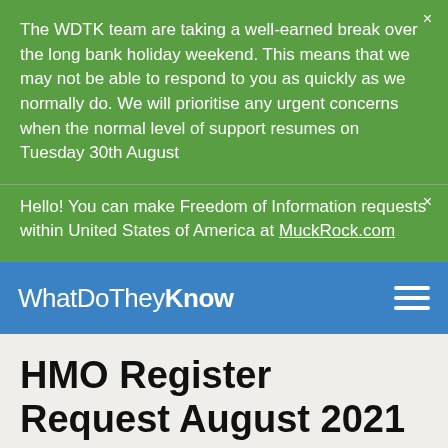The WDTK team are taking a well-earned break over the long bank holiday weekend. This means that we may not be able to respond to you as quickly as we normally do. We will prioritise any urgent concerns when the normal level of support resumes on Tuesday 30th August
Hello! You can make Freedom of Information requests within United States of America at MuckRock.com
WhatDoTheyKnow
HMO Register Request August 2021
Gin Fung Yong made this Freedom of Information request to Walsall Metropolitan Borough Council